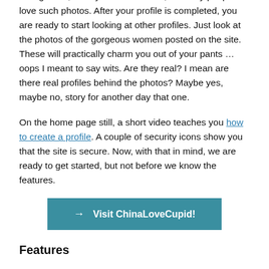background, mostly in the outdoors, as many people love such photos. After your profile is completed, you are ready to start looking at other profiles. Just look at the photos of the gorgeous women posted on the site. These will practically charm you out of your pants …oops I meant to say wits. Are they real? I mean are there real profiles behind the photos? Maybe yes, maybe no, story for another day that one.
On the home page still, a short video teaches you how to create a profile. A couple of security icons show you that the site is secure. Now, with that in mind, we are ready to get started, but not before we know the features.
[Figure (other): A teal/blue button labeled 'Visit ChinaLoveCupid!' with an arrow icon]
Features
Every niche-dating website should have certain features and ChinaLoveCupid does seem to have more than its fair share of